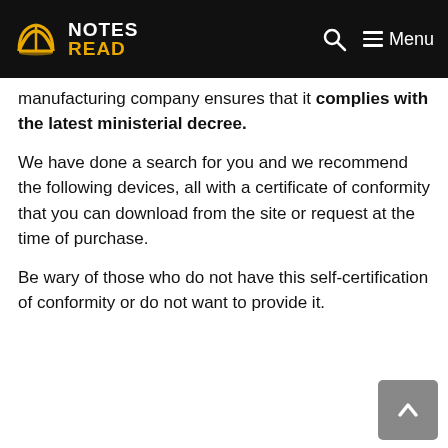NOTES READ | Menu
manufacturing company ensures that it complies with the latest ministerial decree.
We have done a search for you and we recommend the following devices, all with a certificate of conformity that you can download from the site or request at the time of purchase.
Be wary of those who do not have this self-certification of conformity or do not want to provide it.